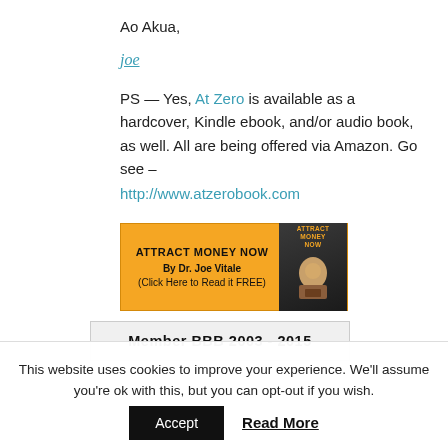Ao Akua,
joe
PS — Yes, At Zero is available as a hardcover, Kindle ebook, and/or audio book, as well. All are being offered via Amazon. Go see – http://www.atzerobook.com
[Figure (other): Advertisement banner for 'Attract Money Now' by Dr. Joe Vitale with orange background and book cover image. Text says: ATTRACT MONEY NOW, By Dr. Joe Vitale, (Click Here to Read it FREE)]
Member BBB 2003 - 2015
This website uses cookies to improve your experience. We'll assume you're ok with this, but you can opt-out if you wish.
Accept  Read More